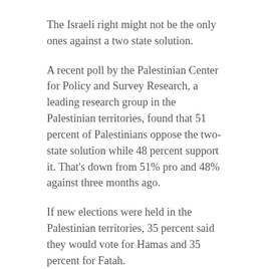The Israeli right might not be the only ones against a two state solution.
A recent poll by the Palestinian Center for Policy and Survey Research, a leading research group in the Palestinian territories, found that 51 percent of Palestinians oppose the two-state solution while 48 percent support it. That's down from 51% pro and 48% against three months ago.
If new elections were held in the Palestinian territories, 35 percent said they would vote for Hamas and 35 percent for Fatah.
Asked what the most effective way of establishing an independent Palestinian state next to Israel would be, 42 percent said armed action and 29 percent said negotiation. Three months ago only 36 percent said armed action.
Finally, 78 percent of Palestinians think the chances of